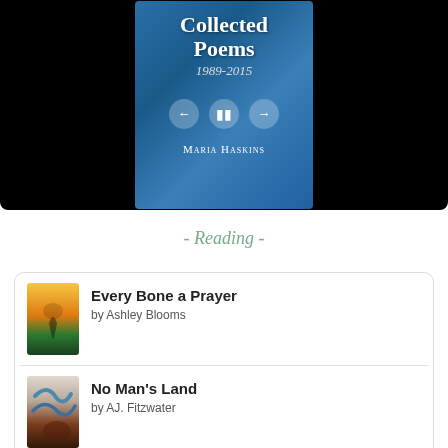[Figure (screenshot): E-reader/audiobook app showing book cover 'Collected Poems 1989-2015' by Maria Haskins, with playback controls (back, pause, forward) on a blue background, displayed on a black media player screen]
- Reading -
[Figure (illustration): Book cover thumbnail for 'Every Bone a Prayer' by Ashley Blooms — yellow/green gradient with silhouette figure]
Every Bone a Prayer
by Ashley Blooms
[Figure (illustration): Book cover thumbnail for 'No Man's Land' by AJ. Fitzwater — blue/brown swirling design]
No Man's Land
by AJ. Fitzwater